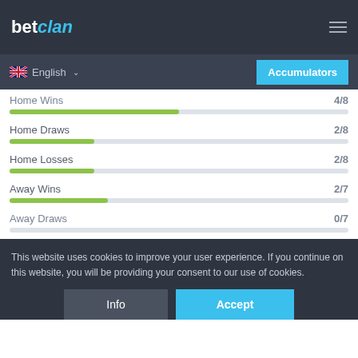betclan
English  Accumulators
Home Wins 4/8
Home Draws 2/8
Home Losses 2/8
Away Wins 2/7
Away Draws 0/7
This website uses cookies to improve your user experience. If you continue on this website, you will be providing your consent to our use of cookies.
Info
Accept